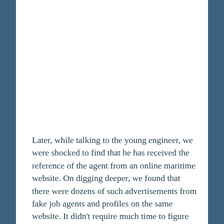Later, while talking to the young engineer, we were shocked to find that he has received the reference of the agent from an online maritime website. On digging deeper, we found that there were dozens of such advertisements from fake job agents and profiles on the same website. It didn't require much time to figure out that the website was over-flooding with such “scammy” advertisements and